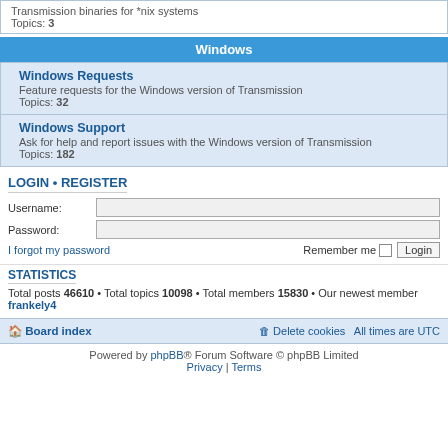Transmission binaries for *nix systems
Topics: 3
Windows
Windows Requests
Feature requests for the Windows version of Transmission
Topics: 32
Windows Support
Ask for help and report issues with the Windows version of Transmission
Topics: 182
LOGIN • REGISTER
Username:
Password:
I forgot my password
Remember me
STATISTICS
Total posts 46610 • Total topics 10098 • Total members 15830 • Our newest member frankely4
Board index • Delete cookies • All times are UTC
Powered by phpBB® Forum Software © phpBB Limited
Privacy | Terms